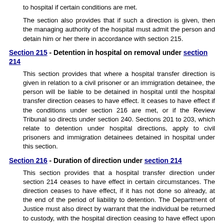to hospital if certain conditions are met.
The section also provides that if such a direction is given, then the managing authority of the hospital must admit the person and detain him or her there in accordance with section 215.
Section 215 - Detention in hospital on removal under section 214
This section provides that where a hospital transfer direction is given in relation to a civil prisoner or an immigration detainee, the person will be liable to be detained in hospital until the hospital transfer direction ceases to have effect. It ceases to have effect if the conditions under section 216 are met, or if the Review Tribunal so directs under section 240. Sections 201 to 203, which relate to detention under hospital directions, apply to civil prisoners and immigration detainees detained in hospital under this section.
Section 216 - Duration of direction under section 214
This section provides that a hospital transfer direction under section 214 ceases to have effect in certain circumstances. The direction ceases to have effect, if it has not done so already, at the end of the period of liability to detention. The Department of Justice must also direct by warrant that the individual be returned to custody, with the hospital direction ceasing to have effect upon their return, if it has received a relevant notification by a suitable medical practitioner. The medical practitioner must be of the opinion that the individual does not have or is no longer suffering from the disorder which precipitated the direction; it is more likely than not that if the person was transferred from hospital, no serious physical or psychological harm to him or her or serious physical harm to other persons would result from the cessation of treatment as an in-patient; or that no effective treatment for the